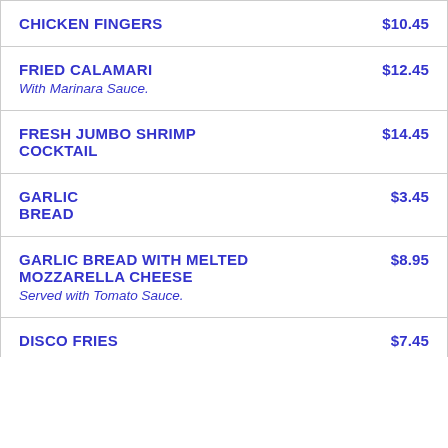CHICKEN FINGERS $10.45
FRIED CALAMARI $12.45 — With Marinara Sauce.
FRESH JUMBO SHRIMP COCKTAIL $14.45
GARLIC BREAD $3.45
GARLIC BREAD WITH MELTED MOZZARELLA CHEESE $8.95 — Served with Tomato Sauce.
DISCO FRIES $7.45